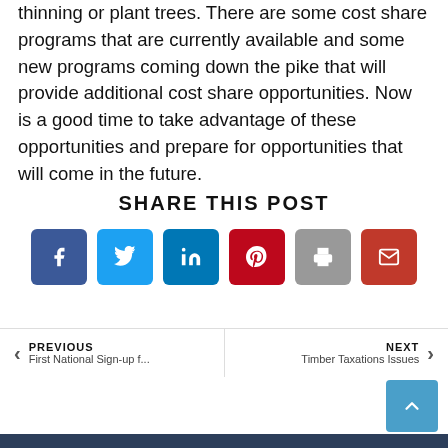thinning or plant trees. There are some cost share programs that are currently available and some new programs coming down the pike that will provide additional cost share opportunities. Now is a good time to take advantage of these opportunities and prepare for opportunities that will come in the future.
SHARE THIS POST
[Figure (other): Row of six social share buttons: Facebook (dark blue), Twitter (light blue), LinkedIn (blue), Pinterest (red), Print (gray), Email (dark red)]
PREVIOUS First National Sign-up f...
NEXT Timber Taxations Issues